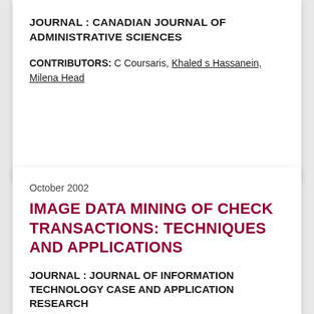JOURNAL : CANADIAN JOURNAL OF ADMINISTRATIVE SCIENCES
CONTRIBUTORS: C Coursaris, Khaled s Hassanein, Milena Head
October 2002
IMAGE DATA MINING OF CHECK TRANSACTIONS: TECHNIQUES AND APPLICATIONS
JOURNAL : JOURNAL OF INFORMATION TECHNOLOGY CASE AND APPLICATION RESEARCH
CONTRIBUTORS: Khaled s Hassanein